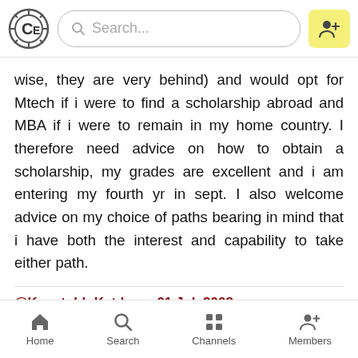Search...
wise, they are very behind) and would opt for Mtech if i were to find a scholarship abroad and MBA if i were to remain in my home country. I therefore need advice on how to obtain a scholarship, my grades are excellent and i am entering my fourth yr in sept. I also welcome advice on my choice of paths bearing in mind that i have both the interest and capability to take either path.
@Kaustubh Katdare • 01 Jul, 2008
Any suggestions here, CEans? Our friend from Nairobi needs an advice!
Home  Search  Channels  Members